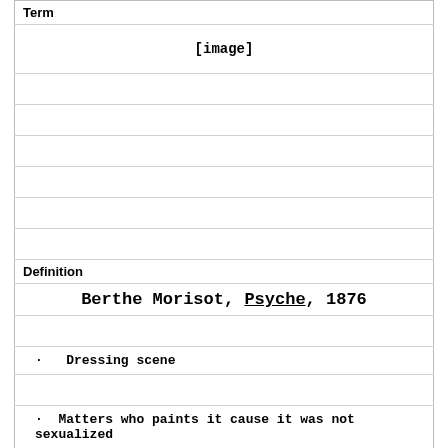Term
[Figure (other): [image]]
Definition
Berthe Morisot, Psyche, 1876
Dressing scene
Matters who paints it cause it was not sexualized